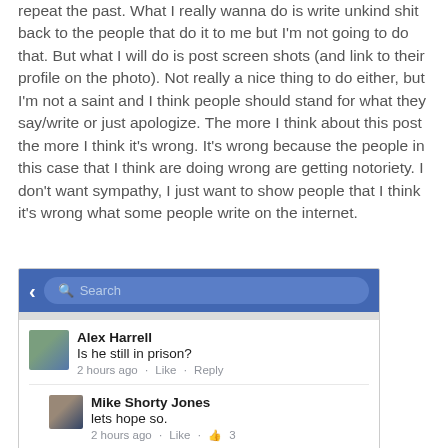repeat the past. What I really wanna do is write unkind shit back to the people that do it to me but I'm not going to do that. But what I will do is post screen shots (and link to their profile on the photo). Not really a nice thing to do either, but I'm not a saint and I think people should stand for what they say/write or just apologize. The more I think about this post the more I think it's wrong. It's wrong because the people in this case that I think are doing wrong are getting notoriety. I don't want sympathy, I just want to show people that I think it's wrong what some people write on the internet.
[Figure (screenshot): Facebook mobile screenshot showing search bar and comments. Alex Harrell: 'Is he still in prison?' 2 hours ago · Like · Reply. Mike Shorty Jones: 'lets hope so.' 2 hours ago · Like · 👍 3. Pedro Moleiro (name visible, comment cut off).]